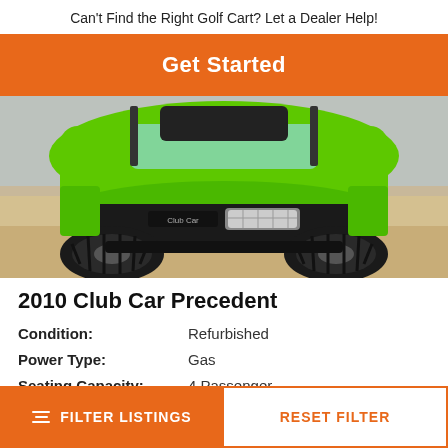Can't Find the Right Golf Cart? Let a Dealer Help!
Get Started
[Figure (photo): Front view of a green 2010 Club Car Precedent golf cart on sandy/dirt terrain. The cart is bright green with black trim, LED headlights, and large off-road tires.]
2010 Club Car Precedent
| Attribute | Value |
| --- | --- |
| Condition: | Refurbished |
| Power Type: | Gas |
| Seating Capacity: | 4 Passenger |
FILTER LISTINGS
RESET FILTER